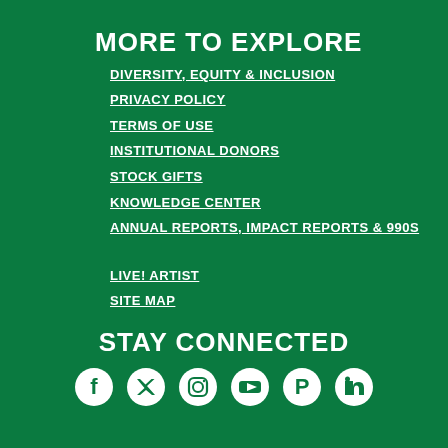MORE TO EXPLORE
DIVERSITY, EQUITY & INCLUSION
PRIVACY POLICY
TERMS OF USE
INSTITUTIONAL DONORS
STOCK GIFTS
KNOWLEDGE CENTER
ANNUAL REPORTS, IMPACT REPORTS & 990S
LIVE! ARTIST
SITE MAP
STAY CONNECTED
[Figure (illustration): Social media icons: Facebook, Twitter/X, Instagram, YouTube, Pinterest, LinkedIn]